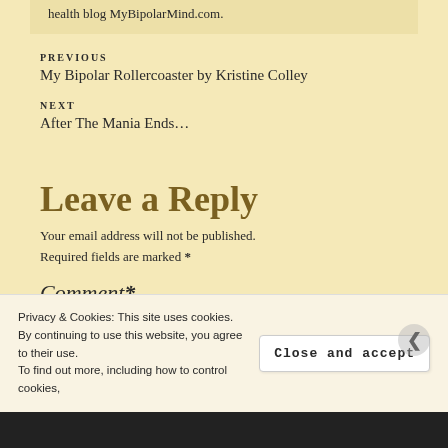health blog MyBipolarMind.com.
PREVIOUS
My Bipolar Rollercoaster by Kristine Colley
NEXT
After The Mania Ends…
Leave a Reply
Your email address will not be published.
Required fields are marked *
Comment*
Privacy & Cookies: This site uses cookies. By continuing to use this website, you agree to their use. To find out more, including how to control cookies,
Close and accept